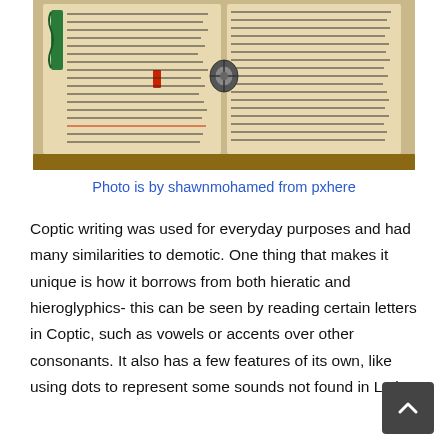[Figure (photo): Open manuscript book with Coptic/medieval script text in black ink with red and colored initials/decorations, including a decorative metal clasp in the center.]
Photo is by shawnmohamed from pxhere
Coptic writing was used for everyday purposes and had many similarities to demotic. One thing that makes it unique is how it borrows from both hieratic and hieroglyphics- this can be seen by reading certain letters in Coptic, such as vowels or accents over other consonants. It also has a few features of its own, like using dots to represent some sounds not found in Latin